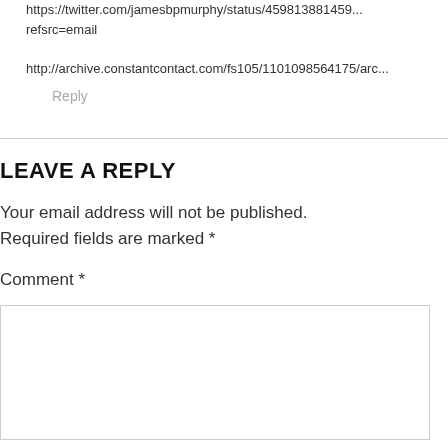https://twitter.com/jamesbpmurphy/status/459813881459...refsrc=email
http://archive.constantcontact.com/fs105/1101098564175/arc...
Reply
LEAVE A REPLY
Your email address will not be published. Required fields are marked *
Comment *